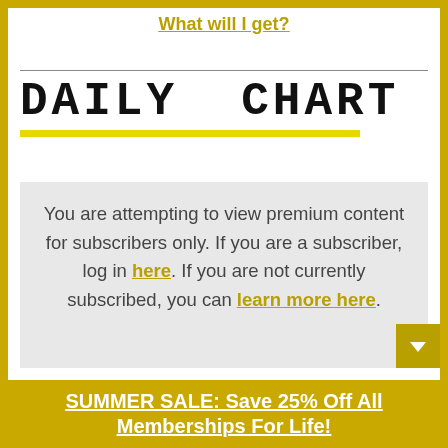What will I get?
DAILY CHART
You are attempting to view premium content for subscribers only. If you are a subscriber, log in here. If you are not currently subscribed, you can learn more here.
SUMMER SALE: Save 25% Off All Memberships For Life!